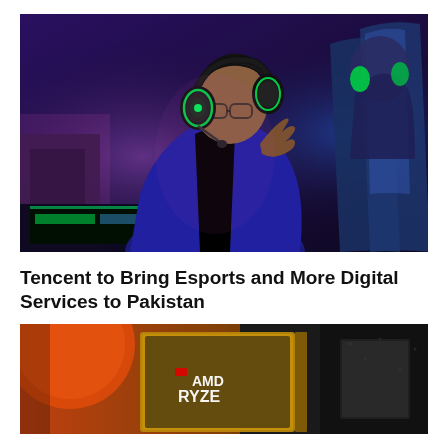[Figure (photo): A gamer wearing green Razer headphones and glasses, gesturing with hands at a gaming setup with RGB keyboard lighting, purple and blue ambient lighting in the background with other gamers visible]
Tencent to Bring Esports and More Digital Services to Pakistan
[Figure (photo): Close-up of an AMD Ryzen processor box/packaging on an orange and dark background, showing the AMD Ryzen branding]